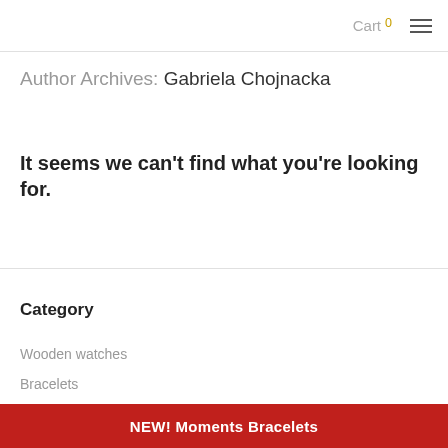Cart 0
Author Archives: Gabriela Chojnacka
It seems we can't find what you're looking for.
Category
Wooden watches
Bracelets
NEW! Moments Bracelets